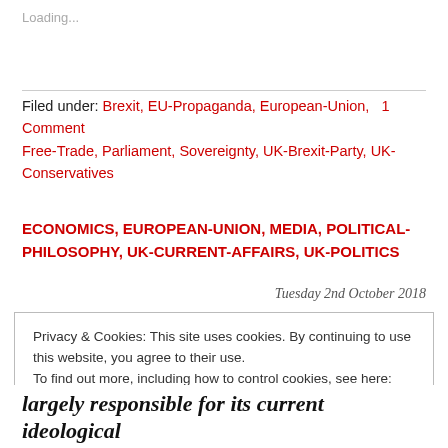Loading...
Filed under: Brexit, EU-Propaganda, European-Union,   1 Comment Free-Trade, Parliament, Sovereignty, UK-Brexit-Party, UK-Conservatives
ECONOMICS, EUROPEAN-UNION, MEDIA, POLITICAL-PHILOSOPHY, UK-CURRENT-AFFAIRS, UK-POLITICS
Tuesday 2nd October 2018
Privacy & Cookies: This site uses cookies. By continuing to use this website, you agree to their use.
To find out more, including how to control cookies, see here: Cookie Policy
largely responsible for its current ideological